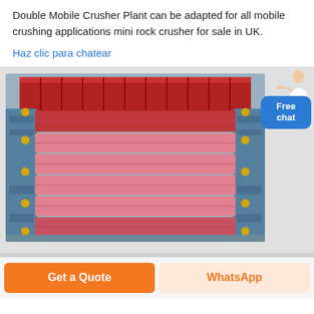Double Mobile Crusher Plant can be adapted for all mobile crushing applications mini rock crusher for sale in UK.
Haz clic para chatear
[Figure (photo): Photo of a mobile crusher plant showing red and pink layered crushing plates with blue steel frame and yellow bolts/connectors on sides.]
Free chat
Get a Quote
WhatsApp